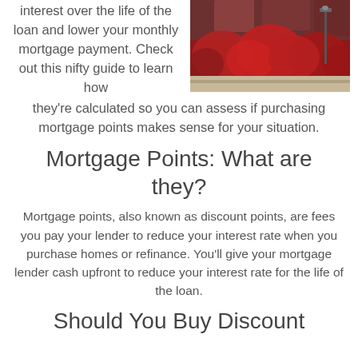interest over the life of the loan and lower your monthly mortgage payment. Check out this nifty guide to learn how they're calculated so you can assess if purchasing mortgage points makes sense for your situation.
[Figure (photo): Exterior photo of a building with red flowering vines covering the facade, with a street lamp visible.]
Mortgage Points: What are they?
Mortgage points, also known as discount points, are fees you pay your lender to reduce your interest rate when you purchase homes or refinance. You'll give your mortgage lender cash upfront to reduce your interest rate for the life of the loan.
Should You Buy Discount